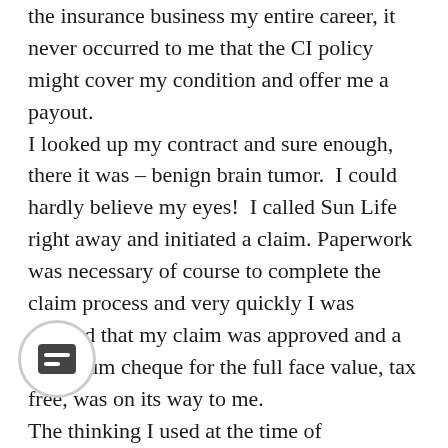the insurance business my entire career, it never occurred to me that the CI policy might cover my condition and offer me a payout. I looked up my contract and sure enough, there it was – benign brain tumor.  I could hardly believe my eyes!  I called Sun Life right away and initiated a claim. Paperwork was necessary of course to complete the claim process and very quickly I was advised that my claim was approved and a lump sum cheque for the full face value, tax free, was on its way to me. The thinking I used at the time of conversion was that maybe I would not have another job that included disability coverage. Should something happen to me that rendered me unable to work, the CI policy could bridge the gap with expenses